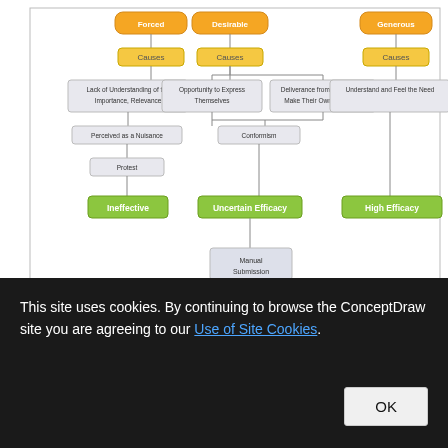[Figure (flowchart): A flowchart showing three columns of decision/process nodes. Each column starts with an orange rounded box at the top (Forced, Desirable, Generous), followed by gold 'Causes' boxes, then gray process boxes describing causes/outcomes (Lack of Understanding of the Importance, Relevance; Opportunity to Express Themselves; Deliverance from the Need to Make Their Own Decisions; Understand and Feel the Need), then connector boxes (Perceived as a Nuisance; Conformism), then outcome boxes, then green result boxes (Ineffective; Uncertain Efficacy; High Efficacy), with a final gray 'Manual Submission' box at the bottom center.]
ConceptDraw PRO is the professional business graphic software for drawing diagrams and charts with great visual
This site uses cookies. By continuing to browse the ConceptDraw site you are agreeing to our Use of Site Cookies.